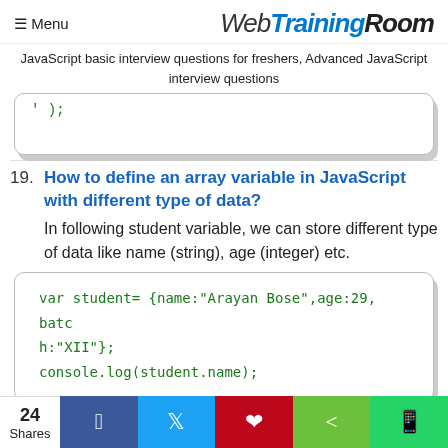≡ Menu | WebTrainingRoom
JavaScript basic interview questions for freshers, Advanced JavaScript interview questions
' );
19. How to define an array variable in JavaScript with different type of data?
In following student variable, we can store different type of data like name (string), age (integer) etc.
var student= {name:"Arayan Bose",age:29, batch:"XII"};
console.log(student.name);